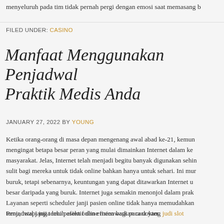menyeluruh pada tim tidak pernah pergi dengan emosi saat memasang b
FILED UNDER: CASINO
Manfaat Menggunakan Penjadwal Praktik Medis Anda
JANUARY 27, 2022 BY YOUNG
Ketika orang-orang di masa depan mengenang awal abad ke-21, kemung mengingat betapa besar peran yang mulai dimainkan Internet dalam ke masyarakat. Jelas, Internet telah menjadi begitu banyak digunakan sehin sulit bagi mereka untuk tidak online bahkan hanya untuk sehari. Ini mur buruk, tetapi sebenarnya, keuntungan yang dapat ditawarkan Internet u besar daripada yang buruk. Internet juga semakin menonjol dalam prak Layanan seperti scheduler janji pasien online tidak hanya memudahkan temu, tetapi juga lebih efektif dan efisien bagi para dokter.
Penjadwal janji temu pasien online menawarkan cara yang judi slots